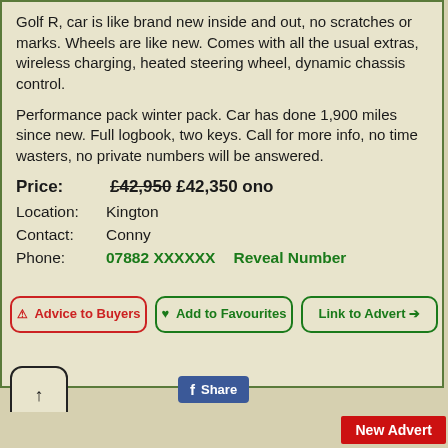Golf R, car is like brand new inside and out, no scratches or marks. Wheels are like new. Comes with all the usual extras, wireless charging, heated steering wheel, dynamic chassis control.
Performance pack winter pack. Car has done 1,900 miles since new. Full logbook, two keys. Call for more info, no time wasters, no private numbers will be answered.
Price: £42,950 £42,350 ono
Location: Kington
Contact: Conny
Phone: 07882 XXXXXX   Reveal Number
Advice to Buyers
Add to Favourites
Link to Advert
New Advert